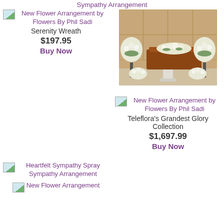Sympathy Arrangement
New Flower Arrangement by Flowers By Phil Sadi
Serenity Wreath
$197.95
Buy Now
[Figure (photo): Photo of white floral arrangements around a casket in a funeral home setting with wood-paneled walls]
New Flower Arrangement by Flowers By Phil Sadi
Teleflora's Grandest Glory Collection
$1,697.99
Buy Now
Heartfelt Sympathy Spray Sympathy Arrangement
New Flower Arrangement